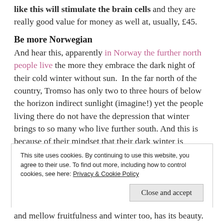like this will stimulate the brain cells and they are really good value for money as well at, usually, £45.
Be more Norwegian
And hear this, apparently in Norway the further north people live the more they embrace the dark night of their cold winter without sun.  In the far north of the country, Tromso has only two to three hours of below the horizon indirect sunlight (imagine!) yet the people living there do not have the depression that winter brings to so many who live further south. And this is because of their mindset that their dark winter is something they accept willingly as exciting and
This site uses cookies. By continuing to use this website, you agree to their use. To find out more, including how to control cookies, see here: Privacy & Cookie Policy
and mellow fruitfulness and winter too, has its beauty.